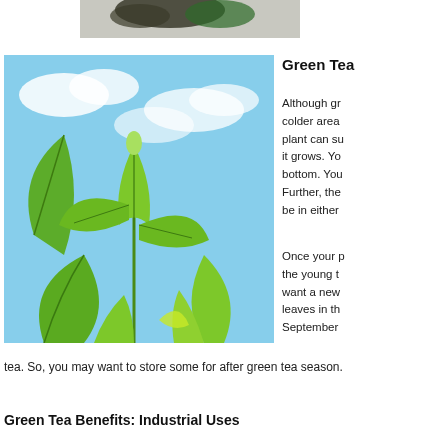[Figure (photo): Small dark image at top, partially visible, appears to be tea leaves or beans]
[Figure (photo): Large photo of green tea plant leaves reaching upward against a blue sky with white clouds]
Green Tea
Although gr... colder area... plant can su... it grows. Yo... bottom. You... Further, the... be in either...
Once your p... the young t... want a new... leaves in th... September...
tea. So, you may want to store some for after green tea season.
Green Tea Benefits: Industrial Uses